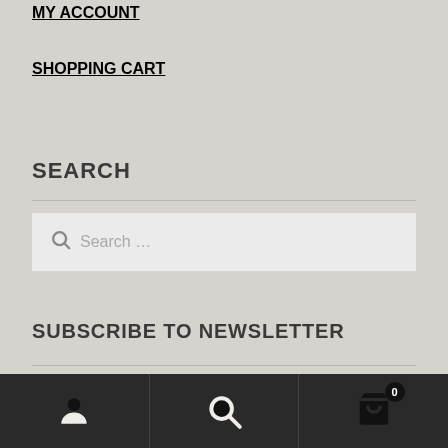MY ACCOUNT
SHOPPING CART
SEARCH
Search …
SUBSCRIBE TO NEWSLETTER
[Figure (screenshot): Bottom navigation bar with user account icon, search icon, and shopping cart icon with badge showing 0]